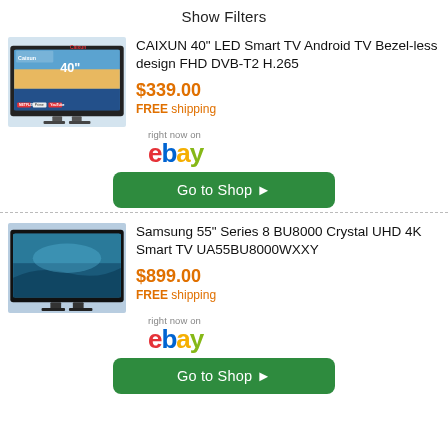Show Filters
[Figure (photo): CAIXUN 40 inch LED Smart TV product image with Caixun logo]
CAIXUN 40" LED Smart TV Android TV Bezel-less design FHD DVB-T2 H.265
$339.00
FREE shipping
[Figure (logo): right now on eBay logo]
Go to Shop ▶
[Figure (photo): Samsung 55 inch Series 8 BU8000 Crystal UHD 4K Smart TV product image]
Samsung 55" Series 8 BU8000 Crystal UHD 4K Smart TV UA55BU8000WXXY
$899.00
FREE shipping
[Figure (logo): right now on eBay logo]
Go to Shop ▶